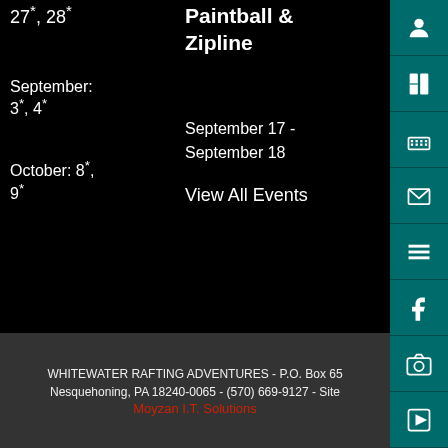27*, 28*
September: 3*, 4*
October: 8*, 9*
Paintball & Zipline
September 17 - September 18
View All Events
[Figure (screenshot): Teal sidebar with icons: person, book, phone/TTY, envelope, menu, Facebook, camera, play button]
WHITEWATER RAFTING ADVENTURES - P.O. Box 65 Nesquehoning, PA 18240-0065 - (570) 669-9127 - Site Moyzan I.T. Solutions